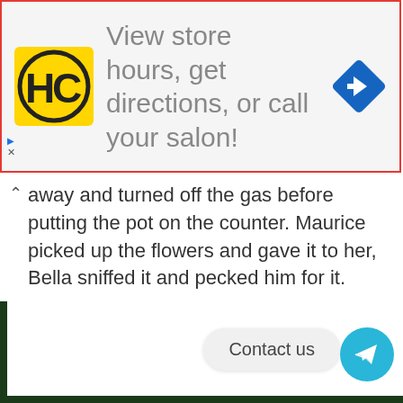[Figure (screenshot): Advertisement banner with red border. Contains a yellow HC logo, text 'View store hours, get directions, or call your salon!', a blue diamond navigation icon, and small ad disclosure labels.]
away and turned off the gas before putting the pot on the counter. Maurice picked up the flowers and gave it to her, Bella sniffed it and pecked him for it.
Contact us